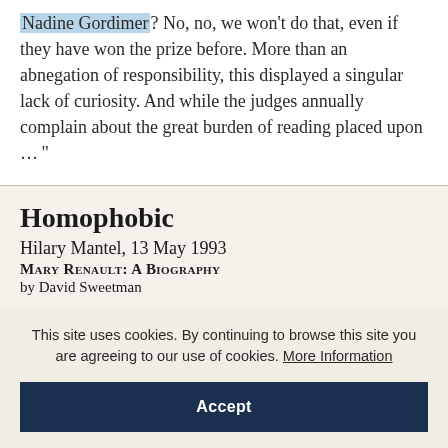Nadine Gordimer? No, no, we won't do that, even if they have won the prize before. More than an abnegation of responsibility, this displayed a singular lack of curiosity. And while the judges annually complain about the great burden of reading placed upon …"
Homophobic
Hilary Mantel, 13 May 1993
Mary Renault: A Biography
by David Sweetman
This site uses cookies. By continuing to browse this site you are agreeing to our use of cookies. More Information
Accept